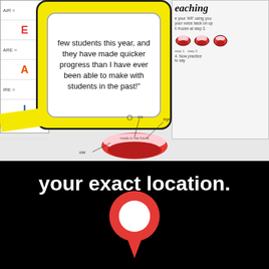[Figure (illustration): Collage of educational materials: a yellow card with a testimonial quote in a white rounded box, a vowel chart on the left showing letters E, A, I with labels like AIR=, ARE=, IRE=, OR=, a right panel showing 'eaching' text and mouth diagrams with step labels, a lip/mouth diagram at the bottom center with phoneme labels like 'oo', 'eye', 'ow']
few students this year, and they have made quicker progress than I have ever been able to make with students in the past!"
your exact location.
[Figure (screenshot): Black video frame with white text 'your exact location.' and a red location pin icon with a white play button triangle in the center]